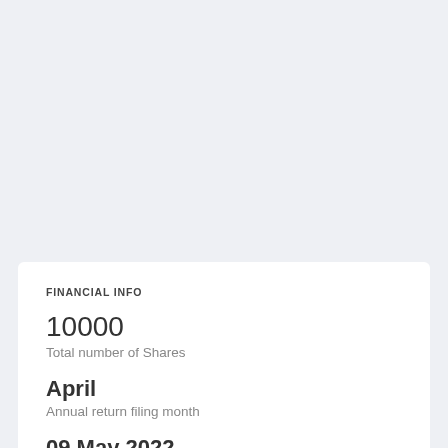FINANCIAL INFO
10000
Total number of Shares
April
Annual return filing month
09 May 2022
Annual return last filed